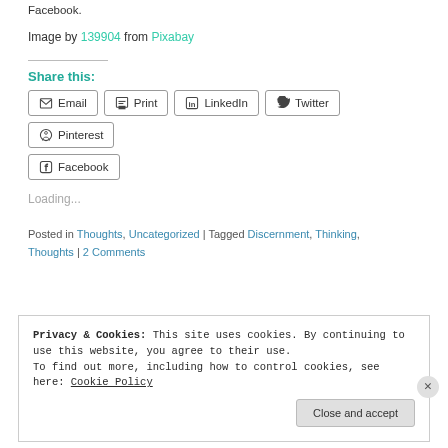Facebook.
Image by 139904 from Pixabay
Share this:
Email
Print
LinkedIn
Twitter
Pinterest
Facebook
Loading...
Posted in Thoughts, Uncategorized | Tagged Discernment, Thinking, Thoughts | 2 Comments
Privacy & Cookies: This site uses cookies. By continuing to use this website, you agree to their use.
To find out more, including how to control cookies, see here: Cookie Policy